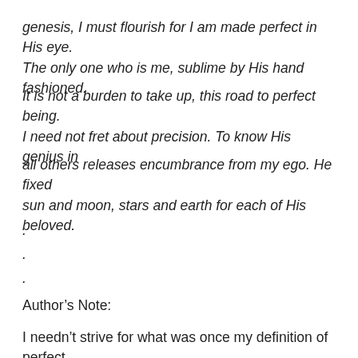genesis, I must flourish for I am made perfect in His eye. The only one who is me, sublime by His hand fashioned.
It is not a burden to take up, this road to perfect being. I need not fret about precision. To know His genius in
all others releases encumbrance from my ego. He fixed sun and moon, stars and earth for each of His beloved.
.
.
.
Author’s Note:
I needn’t strive for what was once my definition of perfect.